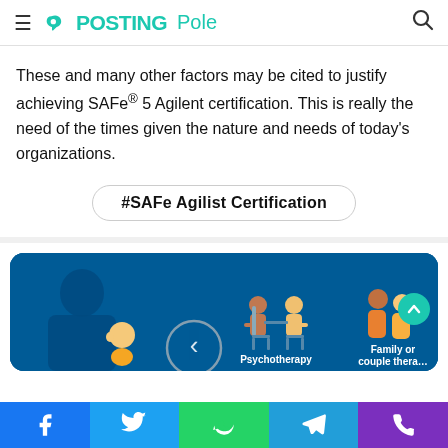PostingPole
These and many other factors may be cited to justify achieving SAFe® 5 Agilent certification. This is really the need of the times given the nature and needs of today's organizations.
#SAFe Agilist Certification
[Figure (illustration): A dark blue banner image with cartoon illustrations: a person silhouette on the left, a psychotherapy scene (two people seated facing each other) in the center-right, and a family/couple therapy scene (two figures standing) on the far right. Navigation arrow and labels visible.]
Social share bar: Facebook, Twitter, WhatsApp, Telegram, Phone